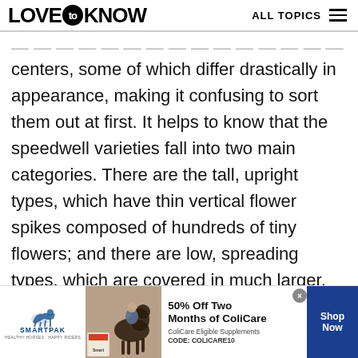LOVE to KNOW  ALL TOPICS
centers, some of which differ drastically in appearance, making it confusing to sort them out at first. It helps to know that the speedwell varieties fall into two main categories. There are the tall, upright types, which have thin vertical flower spikes composed of hundreds of tiny flowers; and there are low, spreading types, which are covered in much larger, single flowers.
[Figure (photo): Two side-by-side photos of speedwell flowers: left shows small blue flowers with green foliage, right shows tall purple flower spikes in a field with yellow flowers.]
[Figure (photo): SmartPak advertisement banner showing a horse and rider with text '50% Off Two Months of ColiCare, ColiCare Eligible Supplements, CODE: COLICARE10' with a Shop Now button.]